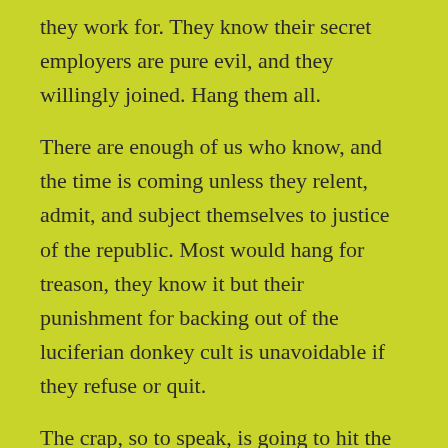they work for. They know their secret employers are pure evil, and they willingly joined. Hang them all.
There are enough of us who know, and the time is coming unless they relent, admit, and subject themselves to justice of the republic. Most would hang for treason, they know it but their punishment for backing out of the luciferian donkey cult is unavoidable if they refuse or quit.
The crap, so to speak, is going to hit the fan, and the dementocrats. So much truth suppressed to an oppressive degree but not enough to keep these evil bolshevik/banker whores safe.
I provided the “date”. It is out there in code, and true